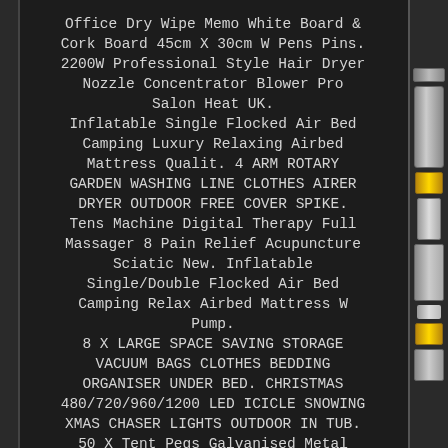Office Dry Wipe Memo White Board & Cork Board 45cm X 30cm W Pens Pins. 2200W Professional Style Hair Dryer Nozzle Concentrator Blower Pro Salon Heat UK.
Inflatable Single Flocked Air Bed Camping Luxury Relaxing Airbed Mattress Qualit. 4 ARM ROTARY GARDEN WASHING LINE CLOTHES AIRER DRYER OUTDOOR FREE COVER SPIKE. Tens Machine Digital Therapy Full Massager 8 Pain Relief Acupuncture Sciatic New. Inflatable Single/Double Flocked Air Bed Camping Relax Airbed Mattress W Pump.
8 X LARGE SPACE SAVING STORAGE VACUUM BAGS CLOTHES BEDDING ORGANISER UNDER BED. CHRISTMAS 480/720/960/1200 LED ICICLE SNOWING XMAS CHASER LIGHTS OUTDOOR IN TUB. 50 X Tent Pegs Galvanised Metal